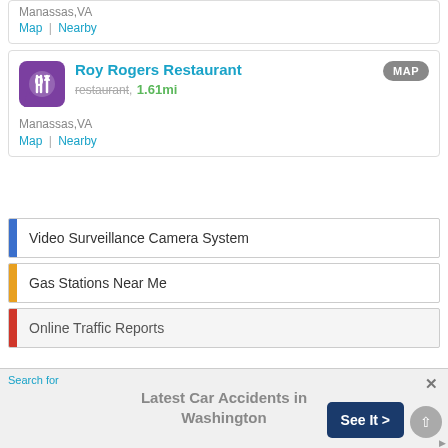Manassas,VA
Map | Nearby
Roy Rogers Restaurant
restaurant, 1.61mi
Manassas,VA
Map | Nearby
Video Surveillance Camera System
Gas Stations Near Me
Online Traffic Reports
Search for
Latest Car Accidents in Washington
See It >